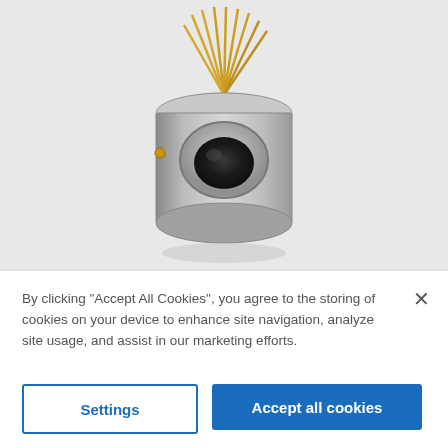[Figure (photo): A TO-can style electronic component (laser diode or photodetector) with gold pins radiating upward from a metallic cylindrical body, shown on a light gray background.]
By clicking "Accept All Cookies", you agree to the storing of cookies on your device to enhance site navigation, analyze site usage, and assist in our marketing efforts.